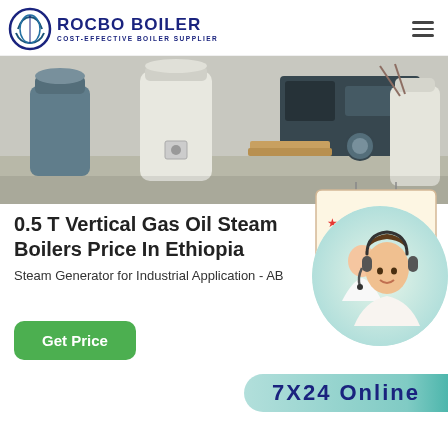[Figure (logo): Rocbo Boiler logo with circular blue icon and text 'ROCBO BOILER - COST-EFFECTIVE BOILER SUPPLIER']
[Figure (photo): Industrial boilers in a warehouse setting, showing white cylindrical steam boilers and equipment]
0.5 T Vertical Gas Oil Steam Boilers Price In Ethiopia
Steam Generator for Industrial Application - AB...
[Figure (infographic): 10% DISCOUNT badge in red and blue text on a tag shape]
[Figure (photo): Customer support representative wearing headset, smiling]
Get Price
7X24 Online